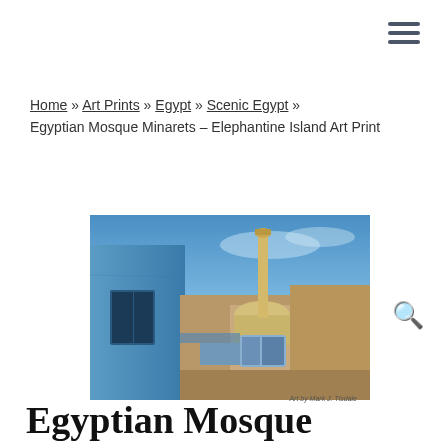≡ (hamburger menu icon)
Home » Art Prints » Egypt » Scenic Egypt » Egyptian Mosque Minarets – Elephantine Island Art Print
[Figure (photo): Photograph of Egyptian mosque minarets and blue-walled buildings at Elephantine Island, Egypt, taken at dusk with a blue sky. Art by Mark J. Tisdale.]
Art by Mark J. Tisdale
Egyptian Mosque